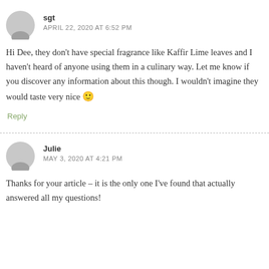sgt
APRIL 22, 2020 AT 6:52 PM
Hi Dee, they don't have special fragrance like Kaffir Lime leaves and I haven't heard of anyone using them in a culinary way. Let me know if you discover any information about this though. I wouldn't imagine they would taste very nice 🙂
Reply
Julie
MAY 3, 2020 AT 4:21 PM
Thanks for your article – it is the only one I've found that actually answered all my questions!